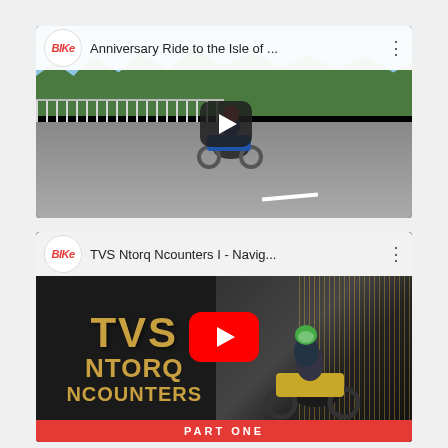[Figure (screenshot): YouTube video thumbnail for 'Anniversary Ride to the Isle of ...' from Bike magazine channel. Shows a motorcyclist on a road with trees in background. Dark play button in center. White header bar with Bike logo and title.]
[Figure (screenshot): YouTube video thumbnail for 'TVS Ntorq Ncounters I - Navig...' from Bike magazine channel. Left side shows gold/brown TVS NTORQ NCOUNTERS text on dark background. Right side shows rider on scooter with motion blur. Red YouTube play button in center.]